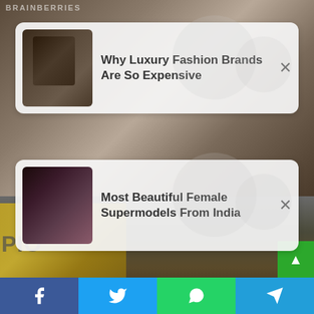BRAINBERRIES
[Figure (screenshot): Notification card 1: thumbnail of luxury fashion bag on left, title 'Why Luxury Fashion Brands Are So Expensive', close X button on right]
[Figure (screenshot): Notification card 2: thumbnail of woman with curly dark hair on left, title 'Most Beautiful Female Supermodels From India', close X button on right]
[Figure (photo): Background photo collage of celebrities/people including man with brown leather jacket, blonde woman, others, with yellow-shirted person in lower section]
PIO
[Figure (infographic): Bottom social share bar with Facebook (blue), Twitter (light blue), WhatsApp (green), and Telegram (blue) buttons with respective icons]